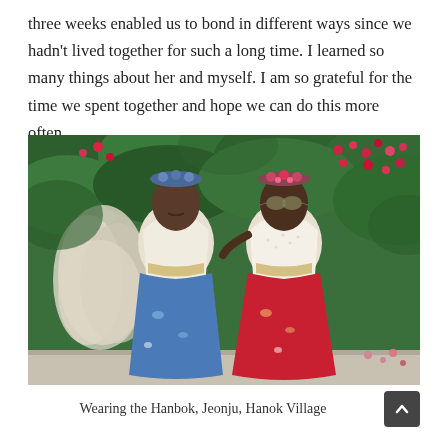three weeks enabled us to bond in different ways since we hadn't lived together for such a long time. I learned so many things about her and myself. I am so grateful for the time we spent together and hope we can do this more often.
[Figure (photo): Two women wearing traditional Korean Hanbok clothing standing in front of a lush green wall with pink and red flowers. The woman on the left wears a blue skirt and blue flower headband; the woman on the right wears a red skirt, white lace top, flower crown, and sunglasses.]
Wearing the Hanbok, Jeonju, Hanok Village